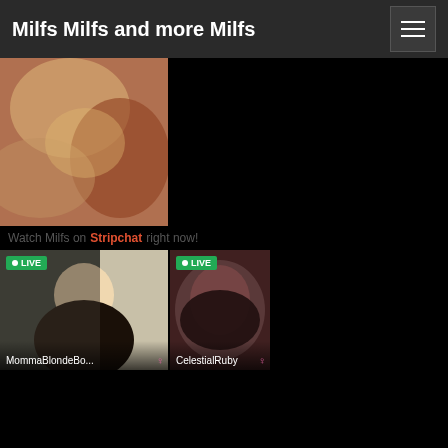Milfs Milfs and more Milfs
[Figure (photo): Close-up photo thumbnail]
Stripchat
[Figure (photo): Live webcam thumbnail - MommaBlondeBo... with LIVE badge]
[Figure (photo): Live webcam thumbnail - CelestialRuby with LIVE badge]